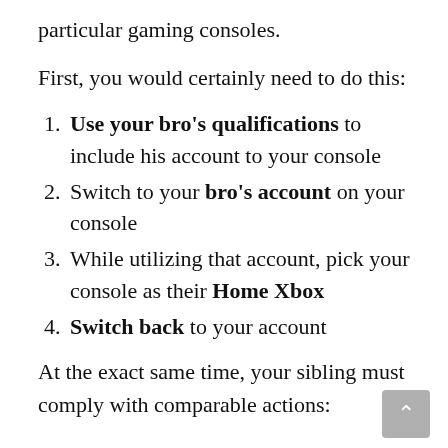particular gaming consoles.
First, you would certainly need to do this:
Use your bro's qualifications to include his account to your console
Switch to your bro's account on your console
While utilizing that account, pick your console as their Home Xbox
Switch back to your account
At the exact same time, your sibling must comply with comparable actions: